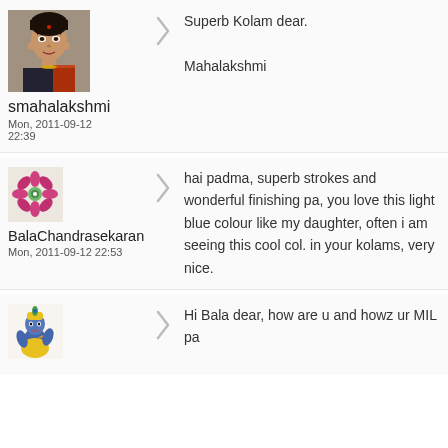[Figure (photo): Avatar photo of smahalakshmi - woman in traditional Indian attire]
smahalakshmi
Mon, 2011-09-12
22:39
Superb Kolam dear.

Mahalakshmi
[Figure (photo): Avatar image of BalaChandrasekaran - flower design icon]
BalaChandrasekaran
Mon, 2011-09-12 22:53
hai padma, superb strokes and wonderful finishing pa, you love this light blue colour like my daughter, often i am seeing this cool col. in your kolams, very nice.
[Figure (illustration): Avatar image - Krishna illustration]
Hi Bala dear, how are u and howz ur MIL pa